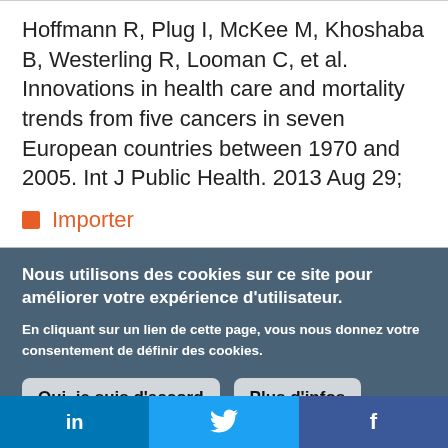Hoffmann R, Plug I, McKee M, Khoshaba B, Westerling R, Looman C, et al. Innovations in health care and mortality trends from five cancers in seven European countries between 1970 and 2005. Int J Public Health. 2013 Aug 29;
Importer
Nous utilisons des cookies sur ce site pour améliorer votre expérience d'utilisateur. En cliquant sur un lien de cette page, vous nous donnez votre consentement de définir des cookies.
Oui, je suis d'accord | Plus d'infos
in | (Twitter bird) | f